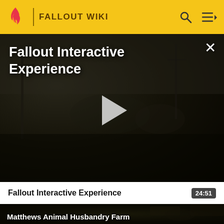FALLOUT WIKI
Fallout Interactive Experience
Fallout Interactive Experience
24:51
Matthews Animal Husbandry Farm